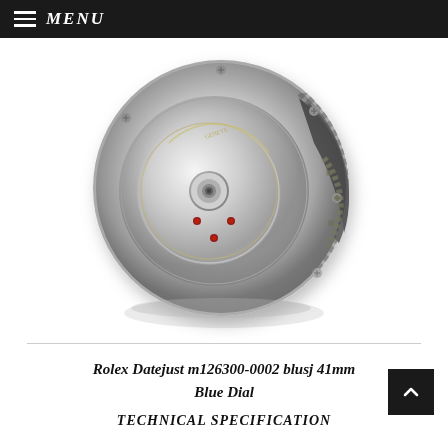MENU
[Figure (photo): Close-up photograph of a Rolex watch movement/caliber mechanism, showing the intricate silver rotor, jewels, and gear components from the back side. The movement is circular with visible Rolex crown logo and 'GENEVE' text engraving.]
Rolex Datejust m126300-0002 blusj 41mm Blue Dial
TECHNICAL SPECIFICATION